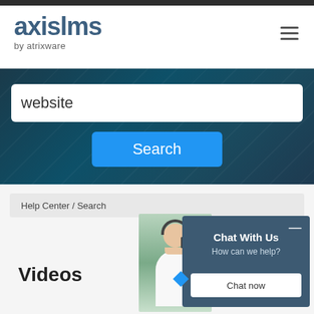[Figure (logo): axislms by atrixware logo in dark blue/teal]
[Figure (screenshot): Search hero section with teal/dark background, search input containing 'website', and blue Search button]
Help Center / Search
Videos
[Figure (photo): Customer service representative wearing headset, smiling]
Chat With Us
How can we help?
Chat now